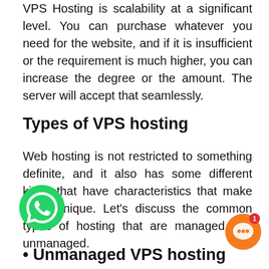VPS Hosting is scalability at a significant level. You can purchase whatever you need for the website, and if it is insufficient or the requirement is much higher, you can increase the degree or the amount. The server will accept that seamlessly.
Types of VPS hosting
Web hosting is not restricted to something definite, and it also has some different kinds that have characteristics that make them unique. Let's discuss the common types of hosting that are managed and unmanaged.
[Figure (logo): WhatsApp green logo icon]
• Unmanaged VPS hosting
[Figure (illustration): Orange chat bubble icon with notification badge showing 1]